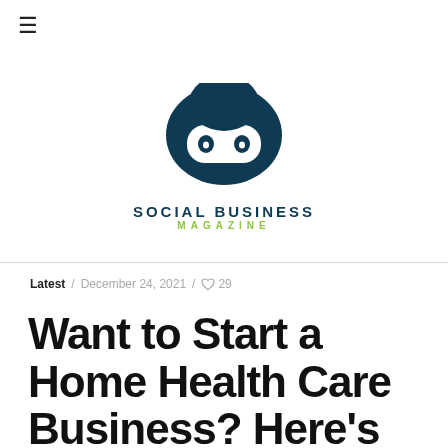≡
[Figure (logo): Social Business Magazine logo — dark teal speech bubble with a ninja face, text 'SOCIAL BUSINESS MAGAZINE']
Latest / December 24, 2021 / ♡ 29
Want to Start a Home Health Care Business? Here's How.